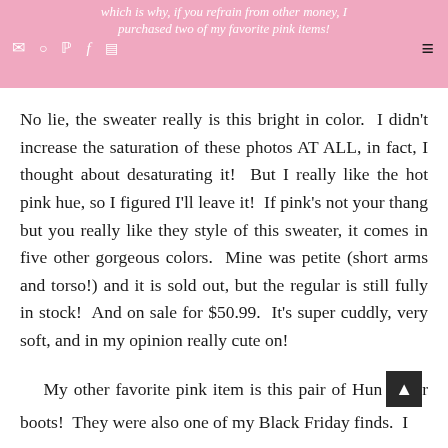which is why, if you refrain from other money, I purchased two of my favorite pink items!
No lie, the sweater really is this bright in color.  I didn't increase the saturation of these photos AT ALL, in fact, I thought about desaturating it!  But I really like the hot pink hue, so I figured I'll leave it!  If pink's not your thang but you really like they style of this sweater, it comes in five other gorgeous colors.  Mine was petite (short arms and torso!) and it is sold out, but the regular is still fully in stock!  And on sale for $50.99.  It's super cuddly, very soft, and in my opinion really cute on!
My other favorite pink item is this pair of Hunter boots!  They were also one of my Black Friday finds.  I had wanted a pair of Hunter boots FOREVER and...